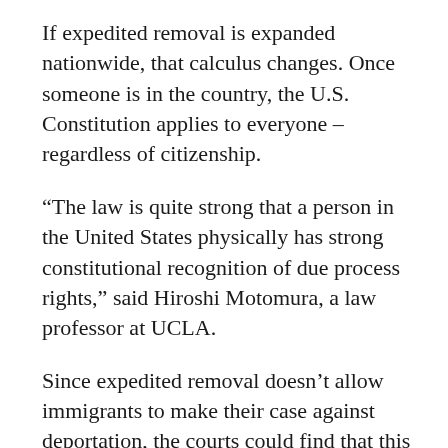If expedited removal is expanded nationwide, that calculus changes. Once someone is in the country, the U.S. Constitution applies to everyone – regardless of citizenship.
“The law is quite strong that a person in the United States physically has strong constitutional recognition of due process rights,” said Hiroshi Motomura, a law professor at UCLA.
Since expedited removal doesn’t allow immigrants to make their case against deportation, the courts could find that this violates the Fifth Amendment.
Two former immigration chiefs have already said